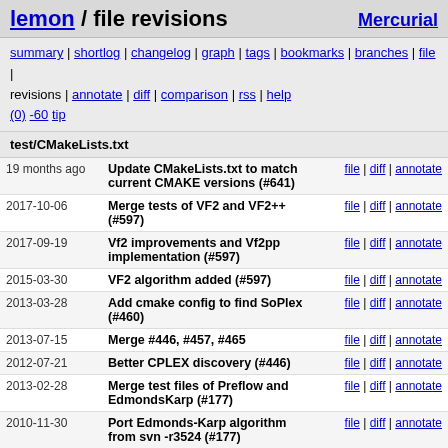lemon / file revisions — Mercurial
summary | shortlog | changelog | graph | tags | bookmarks | branches | file | revisions | annotate | diff | comparison | rss | help
(0) -60 tip
test/CMakeLists.txt
| Date | Message | Links |
| --- | --- | --- |
| 19 months ago | Update CMakeLists.txt to match current CMAKE versions (#641) | file | diff | annotate |
| 2017-10-06 | Merge tests of VF2 and VF2++ (#597) | file | diff | annotate |
| 2017-09-19 | Vf2 improvements and Vf2pp implementation (#597) | file | diff | annotate |
| 2015-03-30 | VF2 algorithm added (#597) | file | diff | annotate |
| 2013-03-28 | Add cmake config to find SoPlex (#460) | file | diff | annotate |
| 2013-07-15 | Merge #446, #457, #465 | file | diff | annotate |
| 2012-07-21 | Better CPLEX discovery (#446) | file | diff | annotate |
| 2013-02-28 | Merge test files of Preflow and EdmondsKarp (#177) | file | diff | annotate |
| 2010-11-30 | Port Edmonds-Karp algorithm from svn -r3524 (#177) | file | diff | annotate |
| 2013-03-01 | Merge #386 | file | diff | annotate |
| 2011-01-08 | A detailed test file for TSP algorithms (#386) | file | diff | annotate |